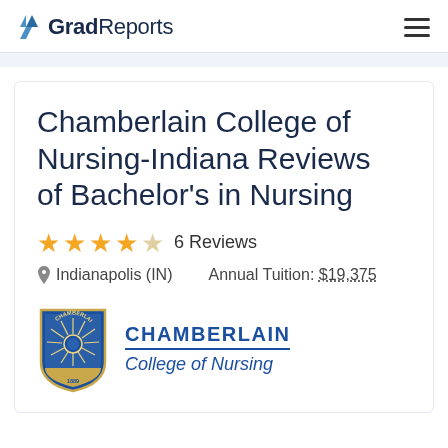GradReports
Chamberlain College of Nursing-Indiana Reviews of Bachelor's in Nursing
★★★★☆ 6 Reviews
Indianapolis (IN)   Annual Tuition: $19,375
[Figure (logo): Chamberlain College of Nursing shield logo with sunburst design in blue and gold, beside text reading CHAMBERLAIN College of Nursing]